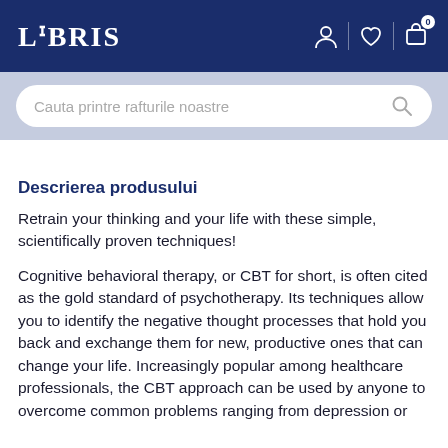LIBRIS
Descrierea produsului
Retrain your thinking and your life with these simple, scientifically proven techniques!
Cognitive behavioral therapy, or CBT for short, is often cited as the gold standard of psychotherapy. Its techniques allow you to identify the negative thought processes that hold you back and exchange them for new, productive ones that can change your life. Increasingly popular among healthcare professionals, the CBT approach can be used by anyone to overcome common problems ranging from depression or